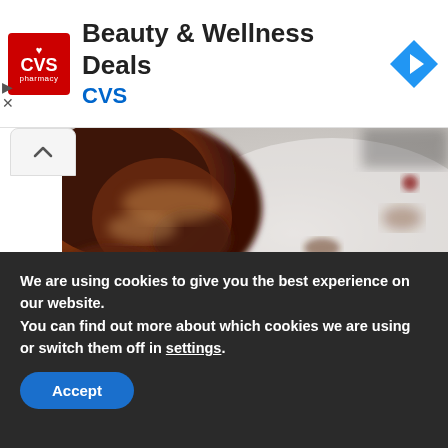[Figure (other): CVS Pharmacy advertisement banner with red logo, 'Beauty & Wellness Deals' heading, 'CVS' subtitle in blue, and a blue diamond navigation arrow icon]
[Figure (photo): Close-up food photo showing what appears to be a chocolate dessert or brownie on a light surface, blurred background]
We are using cookies to give you the best experience on our website.
You can find out more about which cookies we are using or switch them off in settings.
Accept